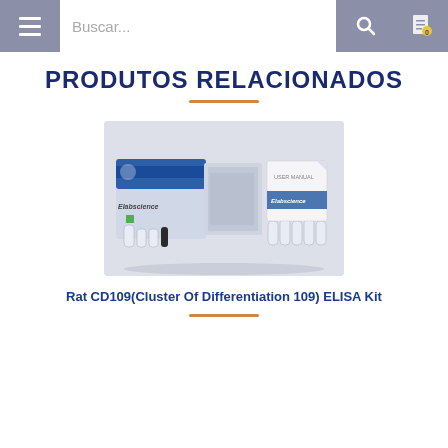Buscar...
PRODUTOS RELACIONADOS
[Figure (photo): Photo of Elabscience ELISA kit product showing box, reagent bottles, microplate, and user manual on a gray background]
Rat CD109(Cluster Of Differentiation 109) ELISA Kit